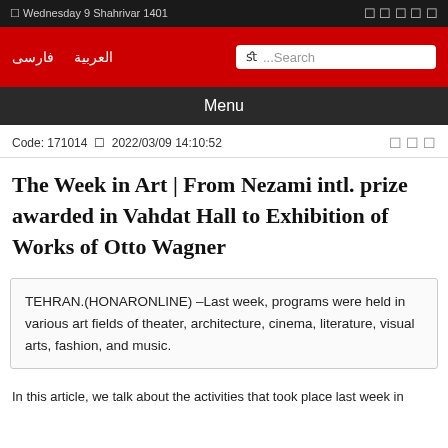Wednesday 9 Shahrivar 1401
العربية  فارسی  Search
Menu
Code: 171014  2022/03/09 14:10:52
The Week in Art | From Nezami intl. prize awarded in Vahdat Hall to Exhibition of Works of Otto Wagner
TEHRAN.(HONARONLINE) –Last week, programs were held in various art fields of theater, architecture, cinema, literature, visual arts, fashion, and music.
In this article, we talk about the activities that took place last week in various art fields.